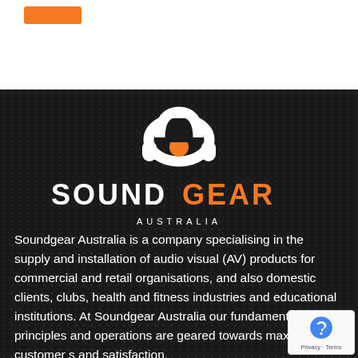[Figure (logo): Orange rectangle button in white top section]
[Figure (logo): Soundgear Australia logo: white stylized headphone icon with orange circle, white and orange SOUNDGEAR text, white AUSTRALIA subtext on dark textured background]
Soundgear Australia is a company specialising in the supply and installation of audio visual (AV) products for commercial and retail organisations, and also domestic clients, clubs, health and fitness industries and educational institutions. At Soundgear Australia our fundamental principles and operations are geared towards maximum customer s and satisfaction.